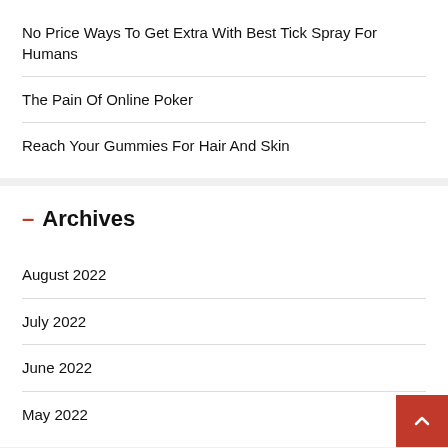No Price Ways To Get Extra With Best Tick Spray For Humans
The Pain Of Online Poker
Reach Your Gummies For Hair And Skin
– Archives
August 2022
July 2022
June 2022
May 2022